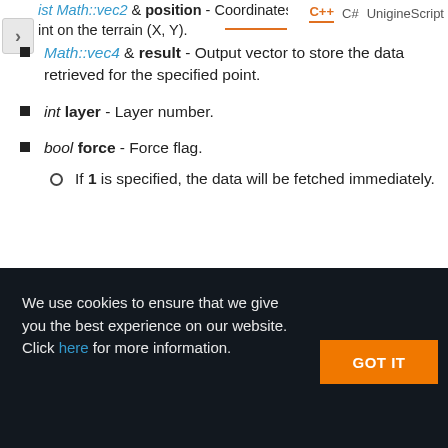Math::vec4 & result - Output vector to store the data retrieved for the specified point.
int layer - Layer number.
bool force - Force flag.
If 1 is specified, the data will be fetched immediately.
We use cookies to ensure that we give you the best experience on our website. Click here for more information.